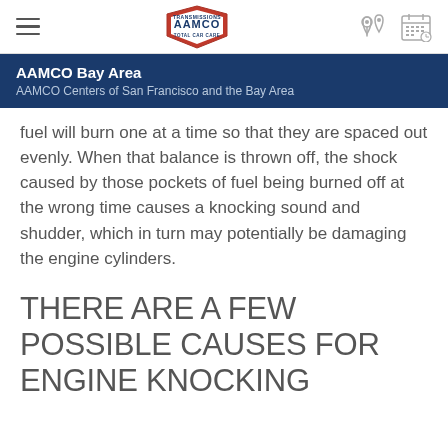[Figure (logo): AAMCO logo with navigation bar including hamburger menu, location pin icon, and calendar icon]
AAMCO Bay Area
AAMCO Centers of San Francisco and the Bay Area
fuel will burn one at a time so that they are spaced out evenly. When that balance is thrown off, the shock caused by those pockets of fuel being burned off at the wrong time causes a knocking sound and shudder, which in turn may potentially be damaging the engine cylinders.
THERE ARE A FEW POSSIBLE CAUSES FOR ENGINE KNOCKING